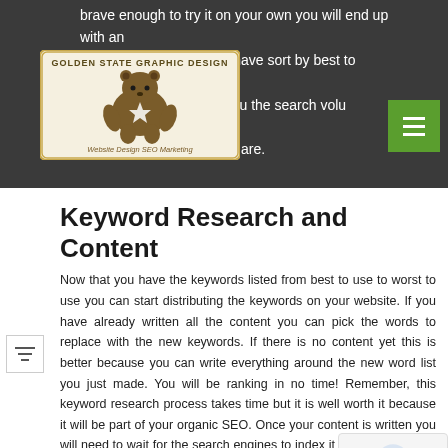brave enough to try it on your own you will end up with an list of keywords that you have sort by best to worst. research tools will give you the search volume and how competitive the keywords are.
[Figure (logo): Golden State Graphic Design logo featuring a bear with a star, text reads 'Website Design SEO Marketing']
Keyword Research and Content
Now that you have the keywords listed from best to use to worst to use you can start distributing the keywords on your website. If you have already written all the content you can pick the words to replace with the new keywords. If there is no content yet this is better because you can write everything around the new word list you just made. You will be ranking in no time! Remember, this keyword research process takes time but it is well worth it because it will be part of your organic SEO. Once your content is written you will need to wait for the search engines to index it and you will need to promote it to get traffic. If the all seems too difficult or too time-consuming you can leave it to one of our professionals.
Let Golden State Graphic Design Setup Your Social